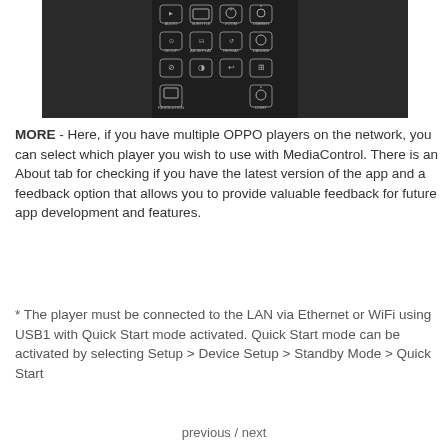[Figure (photo): Photo of the bottom portion of an OPPO remote control showing buttons labeled AUDIO, SUBTITLE, ZOOM, DIMMER, SETUP, AB REPLAY, REPEAT, DARBEE, and navigation/function buttons, plus RESOLUTION and LIGHT buttons at the bottom, on a dark background.]
MORE - Here, if you have multiple OPPO players on the network, you can select which player you wish to use with MediaControl. There is an About tab for checking if you have the latest version of the app and a feedback option that allows you to provide valuable feedback for future app development and features.
* The player must be connected to the LAN via Ethernet or WiFi using USB1 with Quick Start mode activated. Quick Start mode can be activated by selecting Setup > Device Setup > Standby Mode > Quick Start
previous / next